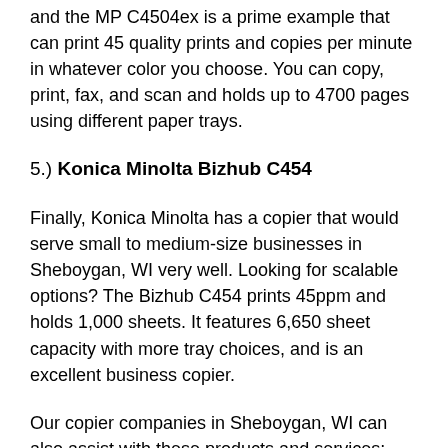and the MP C4504ex is a prime example that can print 45 quality prints and copies per minute in whatever color you choose. You can copy, print, fax, and scan and holds up to 4700 pages using different paper trays.
5.) Konica Minolta Bizhub C454
Finally, Konica Minolta has a copier that would serve small to medium-size businesses in Sheboygan, WI very well. Looking for scalable options? The Bizhub C454 prints 45ppm and holds 1,000 sheets. It features 6,650 sheet capacity with more tray choices, and is an excellent business copier.
Our copier companies in Sheboygan, WI can also assist with these products and services:
Used copier buyers near me
Companies that buy used copiers Sheboygan, WI